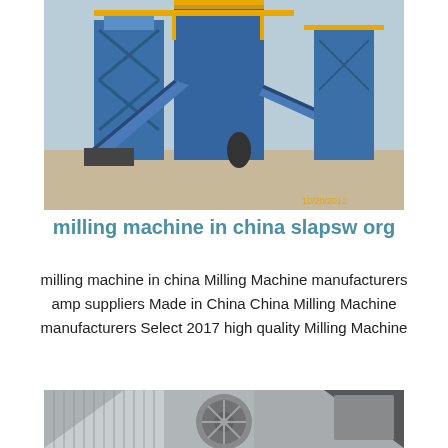[Figure (photo): Large blue industrial milling/conveyor machine structure at an outdoor facility, photographed on 10/20/2012]
milling machine in china slapsw org
milling machine in china Milling Machine manufacturers amp suppliers Made in China China Milling Machine manufacturers Select 2017 high quality Milling Machine
[Figure (photo): Close-up photo of industrial machine components, showing metallic cylindrical and flat surfaces, partially visible]